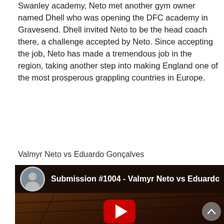Swanley academy, Neto met another gym owner named Dhell who was opening the DFC academy in Gravesend. Dhell invited Neto to be the head coach there, a challenge accepted by Neto. Since accepting the job, Neto has made a tremendous job in the region, taking another step into making England one of the most prosperous grappling countries in Europe.
Valmyr Neto vs Eduardo Gonçalves
[Figure (screenshot): YouTube video embed thumbnail showing a grappling/BJJ match on a mat. Top bar shows a circular avatar of a fighter and the title 'Submission #1004 - Valmyr Neto vs Eduardo Go'. A large red YouTube play button is centered on the video. A scroll-to-top button appears in the bottom right corner.]